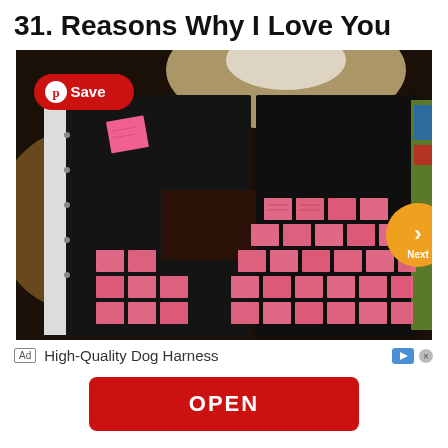31. Reasons Why I Love You
[Figure (photo): Photo of a refrigerator covered with many pink sticky notes arranged in a decorative pattern. A single pink sticky note is visible on the upper left door. A Pinterest Save button overlays the top-left corner of the photo. A yellow circular Next navigation arrow overlays the right side of the photo. A white shower curtain is visible on the left edge.]
Ad  High-Quality Dog Harness
OPEN